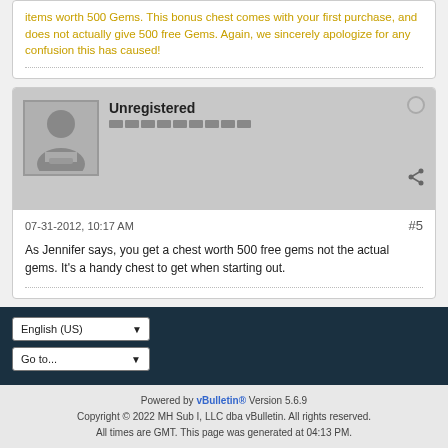items worth 500 Gems. This bonus chest comes with your first purchase, and does not actually give 500 free Gems. Again, we sincerely apologize for any confusion this has caused!
Unregistered
07-31-2012, 10:17 AM  #5
As Jennifer says, you get a chest worth 500 free gems not the actual gems. It's a handy chest to get when starting out.
Powered by vBulletin® Version 5.6.9 Copyright © 2022 MH Sub I, LLC dba vBulletin. All rights reserved. All times are GMT. This page was generated at 04:13 PM.